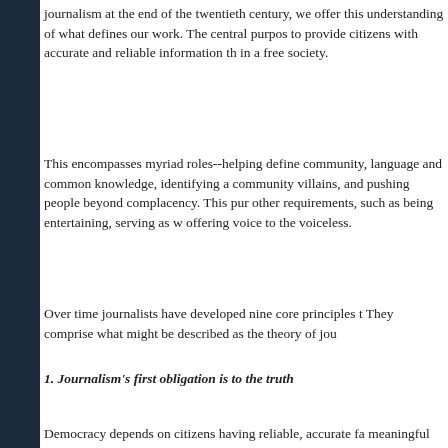journalism at the end of the twentieth century, we offer this understanding of what defines our work. The central purpose is to provide citizens with accurate and reliable information they need in a free society.
This encompasses myriad roles--helping define community, language and common knowledge, identifying a community's villains, and pushing people beyond complacency. This purpose gives other requirements, such as being entertaining, serving as watchdog, offering voice to the voiceless.
Over time journalists have developed nine core principles to guide them. They comprise what might be described as the theory of journalism.
1. Journalism's first obligation is to the truth
Democracy depends on citizens having reliable, accurate facts in a meaningful context. Journalism does not pursue truth in an absolute or philosophical sense, but it can--and must--pursue it in a practical sense. "journalistic truth" is a process that begins with the professional discipline of assembling and verifying facts. Then journalists try to convey a fair and reliable account of their meaning, valid for now, subject to further investigation. Journalists should be as transparent as possible about sources and methods so audiences can make their own assessment of the information. Even in a world of expanding voices, accuracy is the founda